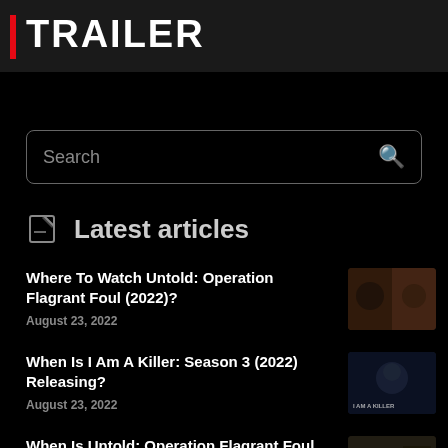[Figure (screenshot): Trailer banner with red vertical bar and bold white TRAILER text on dark background]
Search
Latest articles
Where To Watch Untold: Operation Flagrant Foul (2022)?
August 23, 2022
When Is I Am A Killer: Season 3 (2022) Releasing?
August 23, 2022
When Is Untold: Operation Flagrant Foul (2022) Releasing?